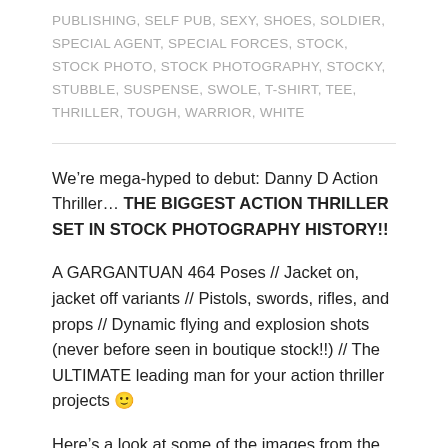PUBLISHING, SELF PUB, SEXY, SHOES, SOLDIER, SPECIAL AGENT, SPECIAL FORCES, STOCK, STOCK PHOTO, STOCK PHOTOGRAPHY, STOCKY, STUBBLE, SUSPENSE, SWOLE, T-SHIRT, TEE, THRILLER, TOUGH, WARRIOR, WHITE
We’re mega-hyped to debut: Danny D Action Thriller… THE BIGGEST ACTION THRILLER SET IN STOCK PHOTOGRAPHY HISTORY!!
A GARGANTUAN 464 Poses // Jacket on, jacket off variants // Pistols, swords, rifles, and props // Dynamic flying and explosion shots (never before seen in boutique stock!!) // The ULTIMATE leading man for your action thriller projects 🙂
Here’s a look at some of the images from the set: